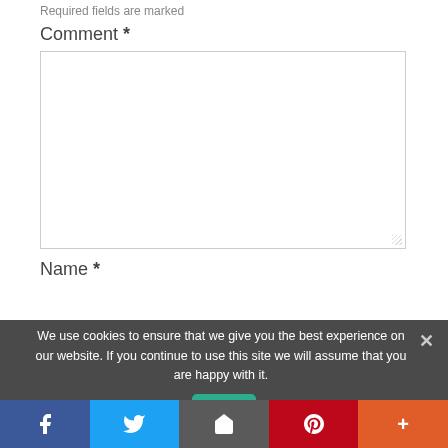Required fields are marked
Comment *
[Figure (screenshot): Empty textarea input box for comment field]
Name *
We use cookies to ensure that we give you the best experience on our website. If you continue to use this site we will assume that you are happy with it.
[Figure (screenshot): Social share bar with Facebook, Twitter, Email, Pinterest, and More buttons]